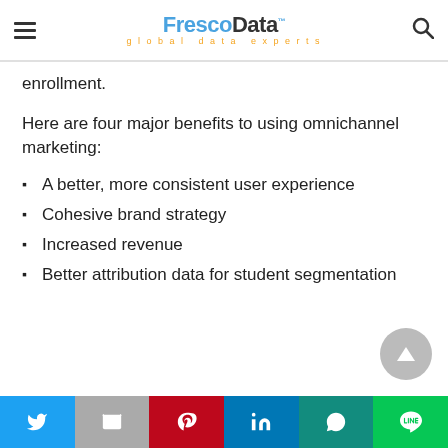FrescoData™ global data experts
enrollment.
Here are four major benefits to using omnichannel marketing:
A better, more consistent user experience
Cohesive brand strategy
Increased revenue
Better attribution data for student segmentation
Social share bar: Twitter, Email, Pinterest, LinkedIn, WhatsApp, Line